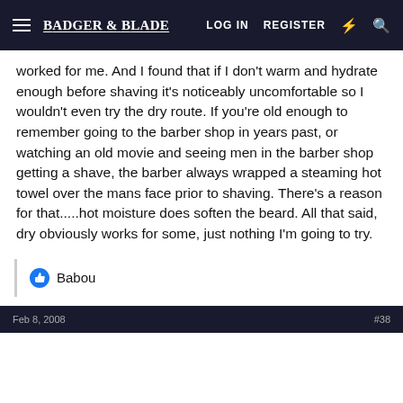Badger & Blade | LOG IN | REGISTER
worked for me. And I found that if I don't warm and hydrate enough before shaving it's noticeably uncomfortable so I wouldn't even try the dry route. If you're old enough to remember going to the barber shop in years past, or watching an old movie and seeing men in the barber shop getting a shave, the barber always wrapped a steaming hot towel over the mans face prior to shaving. There's a reason for that.....hot moisture does soften the beard. All that said, dry obviously works for some, just nothing I'm going to try.
Babou
Feb 8, 2008 | #38